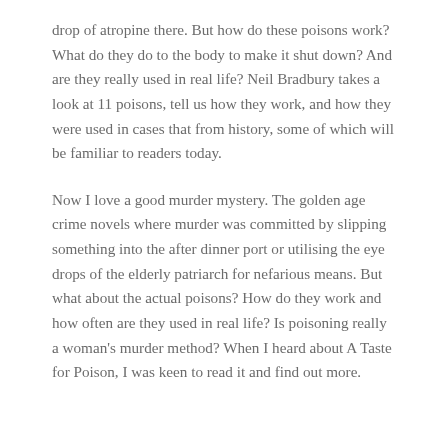drop of atropine there. But how do these poisons work? What do they do to the body to make it shut down? And are they really used in real life? Neil Bradbury takes a look at 11 poisons, tell us how they work, and how they were used in cases that from history, some of which will be familiar to readers today.
Now I love a good murder mystery. The golden age crime novels where murder was committed by slipping something into the after dinner port or utilising the eye drops of the elderly patriarch for nefarious means. But what about the actual poisons? How do they work and how often are they used in real life? Is poisoning really a woman's murder method? When I heard about A Taste for Poison, I was keen to read it and find out more.